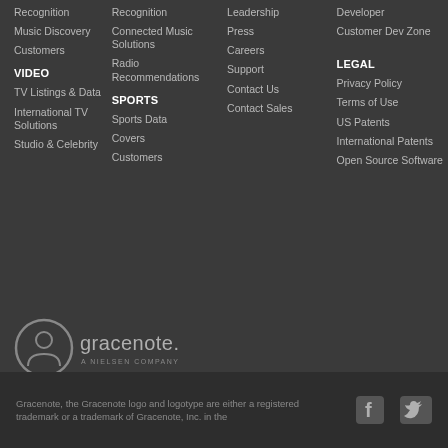Recognition
Music Discovery
Customers
VIDEO
TV Listings & Data
International TV Solutions
Studio & Celebrity
Recognition
Connected Music Solutions
Radio Recommendations
SPORTS
Sports Data
Covers
Customers
Leadership
Press
Careers
Support
Contact Us
Contact Sales
Developer
Customer Dev Zone
LEGAL
Privacy Policy
Terms of Use
US Patents
International Patents
Open Source Software
[Figure (logo): Gracenote logo — circular icon with stylized person, text 'gracenote. A NIELSEN COMPANY']
Gracenote, the Gracenote logo and logotype are either a registered trademark or a trademark of Gracenote, Inc. in the
[Figure (illustration): Facebook and Twitter social media icons]